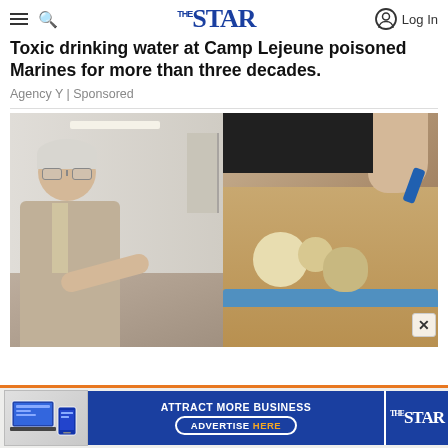The Star — navigation bar with hamburger menu, search icon, The Star logo, and Log In button
Toxic drinking water at Camp Lejeune poisoned Marines for more than three decades.
Agency Y | Sponsored
[Figure (photo): Composite image: left side shows an elderly white-haired man in a suit and glasses pointing at something; right side shows a close-up of hands using a small blue tool on teeth/dental models in a sandy tray]
[Figure (infographic): Bottom advertisement banner for The Star: orange-bordered banner with images of laptop and phone, blue background with text 'ATTRACT MORE BUSINESS ADVERTISE HERE' and The Star logo]